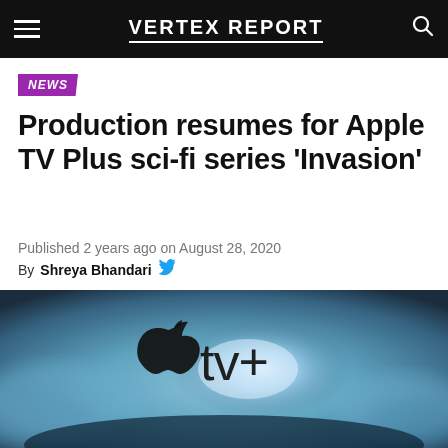VERTEX REPORT
NEWS
Production resumes for Apple TV Plus sci-fi series 'Invasion'
Published 2 years ago on August 28, 2020
By Shreya Bhandari
[Figure (photo): Apple TV+ logo on a dark cloudy atmospheric background with glowing light]